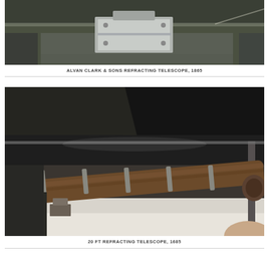[Figure (photo): Photograph of the Alvan Clark & Sons Refracting Telescope, 1865, displayed in a museum setting. The telescope appears as a metallic instrument on a mount, partially visible at the top of the image.]
ALVAN CLARK & SONS REFRACTING TELESCOPE, 1865
[Figure (photo): Photograph of the 20 FT Refracting Telescope from 1685, displayed horizontally in a glass case inside a dark museum room. The long wooden tube of the telescope is visible running diagonally across the frame.]
20 FT REFRACTING TELESCOPE, 1685